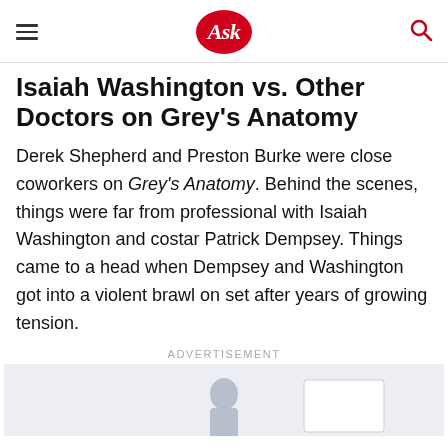Ask
Isaiah Washington vs. Other Doctors on Grey's Anatomy
Derek Shepherd and Preston Burke were close coworkers on Grey's Anatomy. Behind the scenes, things were far from professional with Isaiah Washington and costar Patrick Dempsey. Things came to a head when Dempsey and Washington got into a violent brawl on set after years of growing tension.
ADVERTISEMENT
[Figure (photo): Advertisement image showing a person at the bottom center with a white card/box to the right, set against a light blue-grey background.]